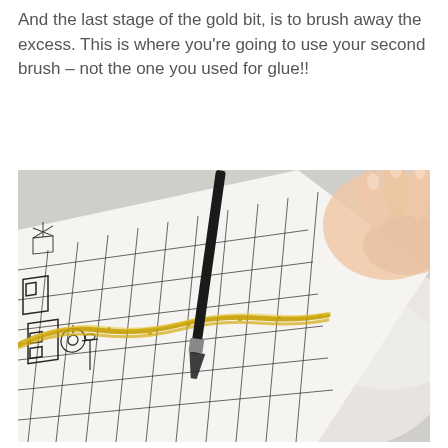And the last stage of the gold bit, is to brush away the excess. This is where you're going to use your second brush – not the one you used for glue!!
[Figure (photo): Close-up photo of a hand using a black brush to sweep gold leaf/glitter off a black-and-white architectural or city map illustration. A strand of shiny gold material is visible across the drawing.]